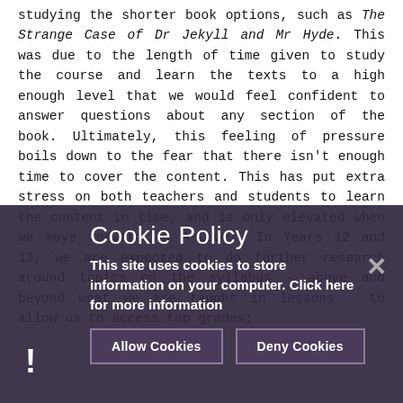studying the shorter book options, such as The Strange Case of Dr Jekyll and Mr Hyde. This was due to the length of time given to study the course and learn the texts to a high enough level that we would feel confident to answer questions about any section of the book. Ultimately, this feeling of pressure boils down to the fear that there isn't enough time to cover the content. This has put extra stress on both teachers and students to learn the content in time, and is only elevated when we move forward to A-Level. In Years 12 and 13, we are expected to do further research around topics on the syllabus – above and beyond what we are taught in lessons – to allow us to access top grades;
[Figure (screenshot): Cookie policy popup overlay with dark purple/grey background. Contains title 'Cookie Policy', descriptive text, 'Allow Cookies' and 'Deny Cookies' buttons, a close X button top-right, and an exclamation mark bottom-left.]